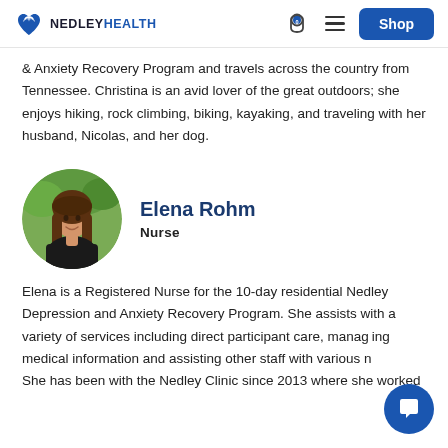NEDLEY HEALTH — Shop
& Anxiety Recovery Program and travels across the country from Tennessee.  Christina is an avid lover of the great outdoors; she enjoys hiking, rock climbing, biking, kayaking, and traveling with her husband, Nicolas, and her dog.
[Figure (photo): Circular profile photo of Elena Rohm, a woman with long brown hair, wearing a black top, outdoors with green foliage background]
Elena Rohm
Nurse
Elena is a Registered Nurse for the 10-day residential Nedley Depression and Anxiety Recovery Program. She assists with a variety of services including direct participant care, managing medical information and assisting other staff with various needs. She has been with the Nedley Clinic since 2013 where she worked